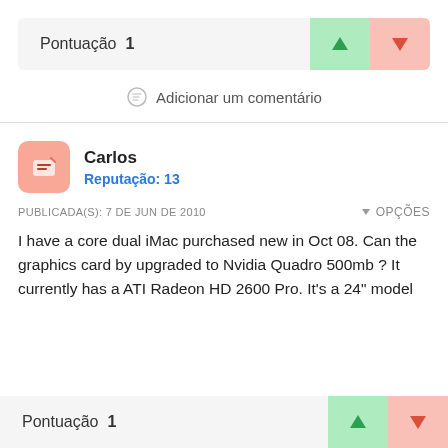Pontuação 1
Adicionar um comentário
Carlos
Reputação: 13
PUBLICADA(S): 7 DE JUN DE 2010
OPÇÕES
I have a core dual iMac purchased new in Oct 08. Can the graphics card by upgraded to Nvidia Quadro 500mb ? It currently has a ATI Radeon HD 2600 Pro. It's a 24" model
Pontuação 1